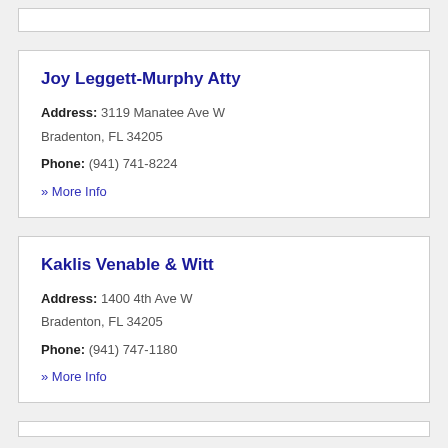Joy Leggett-Murphy Atty
Address: 3119 Manatee Ave W
Bradenton, FL 34205
Phone: (941) 741-8224
» More Info
Kaklis Venable & Witt
Address: 1400 4th Ave W
Bradenton, FL 34205
Phone: (941) 747-1180
» More Info